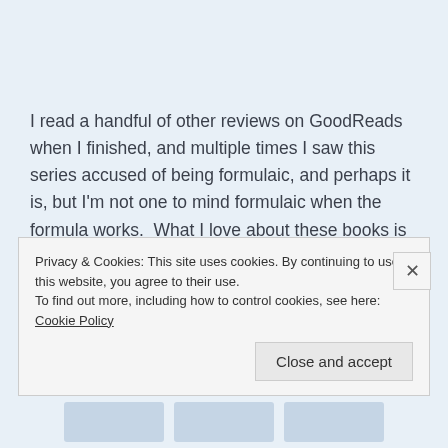I read a handful of other reviews on GoodReads when I finished, and multiple times I saw this series accused of being formulaic, and perhaps it is, but I'm not one to mind formulaic when the formula works.  What I love about these books is the characters.  This late in the game I do find myself missing some of the older characters, Alfred, Brida, Ragnar... and Aethelflaed, but
Privacy & Cookies: This site uses cookies. By continuing to use this website, you agree to their use.
To find out more, including how to control cookies, see here: Cookie Policy
Close and accept